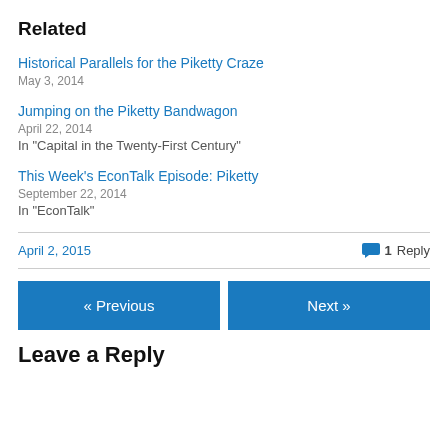Related
Historical Parallels for the Piketty Craze
May 3, 2014
Jumping on the Piketty Bandwagon
April 22, 2014
In "Capital in the Twenty-First Century"
This Week's EconTalk Episode: Piketty
September 22, 2014
In "EconTalk"
April 2, 2015    1 Reply
« Previous   Next »
Leave a Reply